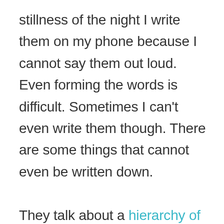stillness of the night I write them on my phone because I cannot say them out loud. Even forming the words is difficult. Sometimes I can't even write them though. There are some things that cannot even be written down.

They talk about a hierarchy of grief, but there's also a hierarchy of storytelling. Sometimes the things